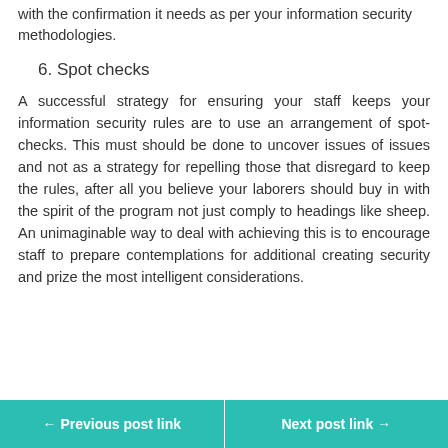with the confirmation it needs as per your information security methodologies.
6. Spot checks
A successful strategy for ensuring your staff keeps your information security rules are to use an arrangement of spot-checks. This must should be done to uncover issues of issues and not as a strategy for repelling those that disregard to keep the rules, after all you believe your laborers should buy in with the spirit of the program not just comply to headings like sheep. An unimaginable way to deal with achieving this is to encourage staff to prepare contemplations for additional creating security and prize the most intelligent considerations.
← Previous post link   Next post link →